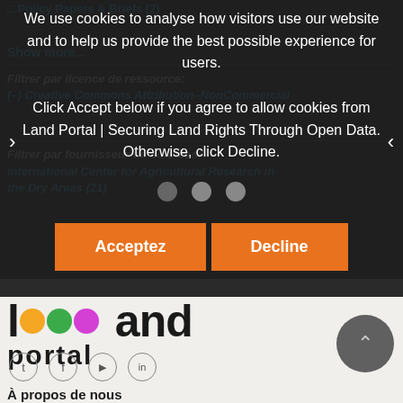Policy Papers & Briefs (2)
Show more...
Filtrer par licence de ressource:
(–) Creative Commons Attribution–NonCommercial
Filtrer par fournisseur de données:
International Center for Agricultural Research in the Dry Areas (21)
We use cookies to analyse how visitors use our website and to help us provide the best possible experience for users.
Click Accept below if you agree to allow cookies from Land Portal | Securing Land Rights Through Open Data. Otherwise, click Decline.
[Figure (other): Three grey dots indicating a carousel/slideshow position indicator]
Acceptez
Decline
[Figure (logo): Land Portal logo with colorful letters spelling 'land' and black text 'portal']
[Figure (other): Social media icons: Twitter, Facebook, YouTube, LinkedIn in circular borders]
[Figure (other): Back to top button - dark grey circle with upward pointing chevron]
À propos de nous